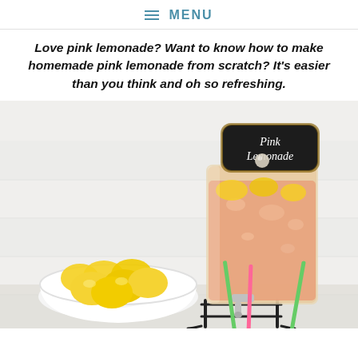≡ MENU
Love pink lemonade? Want to know how to make homemade pink lemonade from scratch? It's easier than you think and oh so refreshing.
[Figure (photo): A glass beverage dispenser filled with pink lemonade and lemon slices, labeled with a chalkboard sign reading 'Pink Lemonade', sitting on a black metal stand with colorful straws. A white bowl of fresh lemons sits to the left. White wood plank background.]